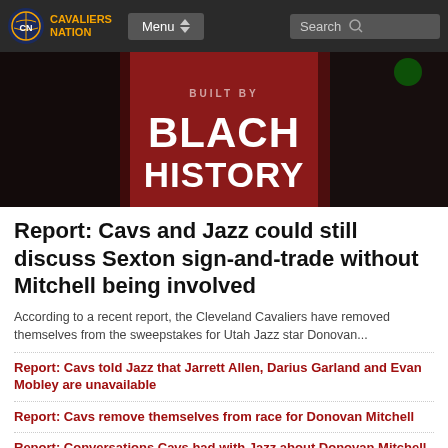Cavaliers Nation | Menu | Search
[Figure (photo): Basketball player wearing a red 'Built by Black History' shirt warming up]
Report: Cavs and Jazz could still discuss Sexton sign-and-trade without Mitchell being involved
According to a recent report, the Cleveland Cavaliers have removed themselves from the sweepstakes for Utah Jazz star Donovan...
Report: Cavs told Jazz that Jarrett Allen, Darius Garland and Evan Mobley are unavailable
Report: Cavs remove themselves from race for Donovan Mitchell
Report: Conversations Cavs had with Jazz about Donovan Mitchell are more 'cursory' than anything
Report: Utah Jazz among teams interested in Cedi Osman
SUBSCRIBE TO GET YOUR DAILY CLEVELAND CAVALIERS